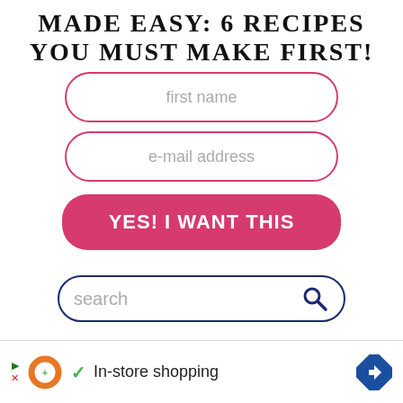MADE EASY: 6 RECIPES YOU MUST MAKE FIRST!
[Figure (screenshot): Email signup form with first name field, e-mail address field, and a pink 'YES! I WANT THIS' button]
[Figure (screenshot): Search bar with dark blue border, placeholder text 'search' and a search icon on the right]
[Figure (screenshot): Advertisement banner at bottom showing Google Ads controls, a donut-shape logo, checkmark, 'In-store shopping' text, and a blue diamond navigation icon]